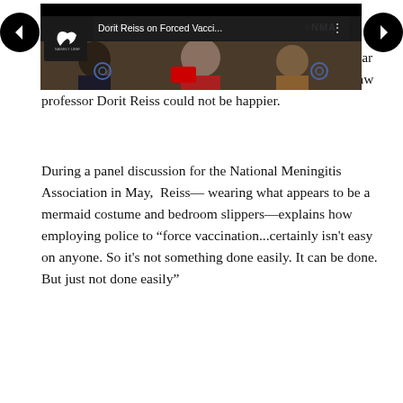stonewalling of Mary Holland.
In any event, it's clear certain machinery has gone into gear and vaccine industry avatars like UC Hastings assistant law professor Dorit Reiss could not be happier.
During a panel discussion for the National Meningitis Association in May,  Reiss— wearing what appears to be a mermaid costume and bedroom slippers—explains how employing police to "force vaccination...certainly isn't easy on anyone. So it's not something done easily. It can be done. But just not done easily"
[Figure (screenshot): Video thumbnail showing 'Dorit Reiss on Forced Vacci...' with NMA branding, showing panel discussion participants, with navigation arrows on left and right sides.]